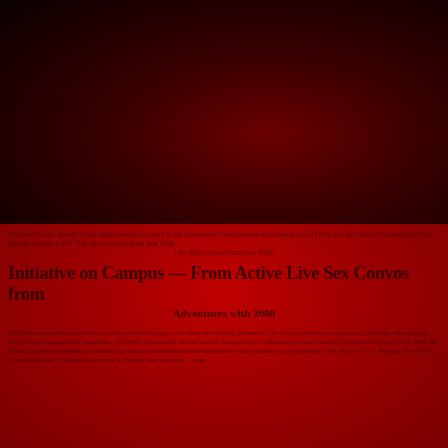[Figure (photo): Dark deep red gradient background filling top half of cover page]
Presented to the Senate of the United States pursuant to the Government Performance and Results Act of 1993, and the Office of Management and Budget Circular A-136. This report covers fiscal year 2008.
Initiative on Campus — From Active Live Sex Convos from Adventures with 2008
OMB has reviewed this performance and accountability report and offers the following comments: The Office continues to strengthen its strategic planning and performance measurement capabilities. The Office improved its internal controls framework by implementing a new financial management system. In FY 2008, the Office completed its transition to unified reporting and established new benchmarks for accountability and transparency. The efforts in FY 1, Program Year Year 2, Internal plan year 3, Transition year year 8, Internal year year year — year.